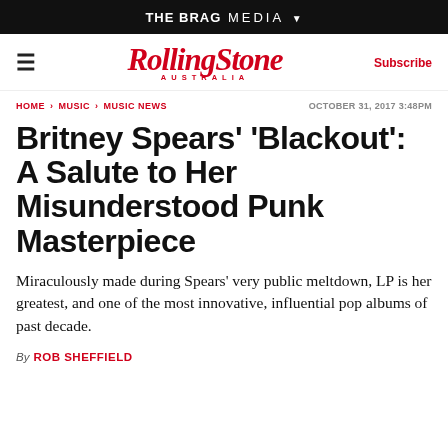THE BRAG MEDIA
[Figure (logo): Rolling Stone Australia logo with hamburger menu and Subscribe button]
HOME > MUSIC > MUSIC NEWS    OCTOBER 31, 2017 3:48PM
Britney Spears' 'Blackout': A Salute to Her Misunderstood Punk Masterpiece
Miraculously made during Spears' very public meltdown, LP is her greatest, and one of the most innovative, influential pop albums of past decade.
By ROB SHEFFIELD